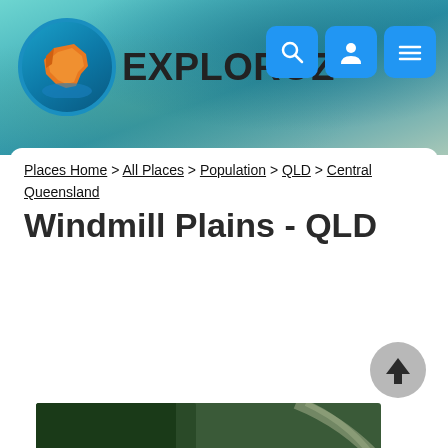EXPLOROZ
Places Home > All Places > Population > QLD > Central Queensland
Windmill Plains - QLD
[Figure (photo): Aerial view of Windmill Plains Queensland showing green wetland landscape with dark water patches and vegetation from above]